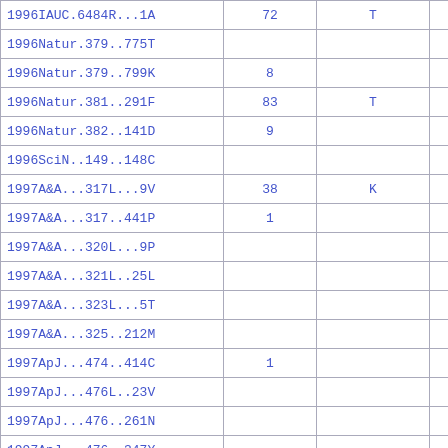| Reference | Col2 | Col3 | Col4 |
| --- | --- | --- | --- |
| 1996IAUC.6484R...1A | 72 | T |  |
| 1996Natur.379..775T |  |  |  |
| 1996Natur.379..799K | 8 |  |  |
| 1996Natur.381..291F | 83 | T |  |
| 1996Natur.382..141D | 9 |  |  |
| 1996SciN..149..148C |  |  |  |
| 1997A&A...317L...9V | 38 | K |  |
| 1997A&A...317..441P | 1 |  |  |
| 1997A&A...320L...9P |  |  |  |
| 1997A&A...321L..25L |  |  |  |
| 1997A&A...323L...5T |  |  |  |
| 1997A&A...325..212M |  |  |  |
| 1997ApJ...474..414C | 1 |  |  |
| 1997ApJ...476L..23V |  |  |  |
| 1997ApJ...476..261N |  |  |  |
| 1997ApJ...476..347Y |  |  |  |
| 1997ApJ...477..897B | 114 | T  K |  |
| 1997ApJ...479L.137S | 10 |  |  |
| 1997ApJ...479L.145B | 36 |  |  |